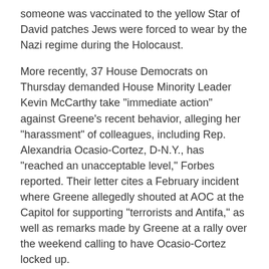someone was vaccinated to the yellow Star of David patches Jews were forced to wear by the Nazi regime during the Holocaust.
More recently, 37 House Democrats on Thursday demanded House Minority Leader Kevin McCarthy take "immediate action" against Greene's recent behavior, alleging her "harassment" of colleagues, including Rep. Alexandria Ocasio-Cortez, D-N.Y., has "reached an unacceptable level," Forbes reported. Their letter cites a February incident where Greene allegedly shouted at AOC at the Capitol for supporting "terrorists and Antifa," as well as remarks made by Greene at a rally over the weekend calling to have Ocasio-Cortez locked up.
Source: Fox News' Michael Ruiz, Nate Day, Tyler Olson and Howard Kurtz contributed to this report.